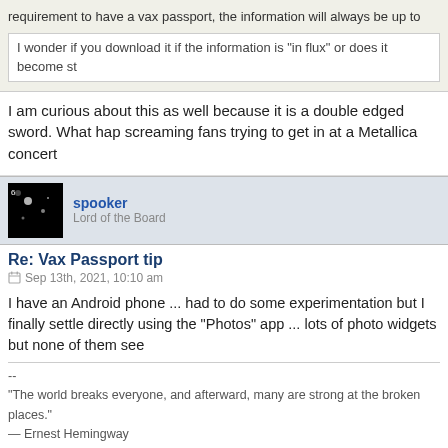requirement to have a vax passport, the information will always be up to
I wonder if you download it if the information is "in flux" or does it become st
I am curious about this as well because it is a double edged sword. What hap screaming fans trying to get in at a Metallica concert
spooker
Lord of the Board
Re: Vax Passport tip
Sep 13th, 2021, 10:10 am
I have an Android phone ... had to do some experimentation but I finally settle directly using the "Photos" app ... lots of photo widgets but none of them see
--
"The world breaks everyone, and afterward, many are strong at the broken places."
— Ernest Hemingway
169 posts